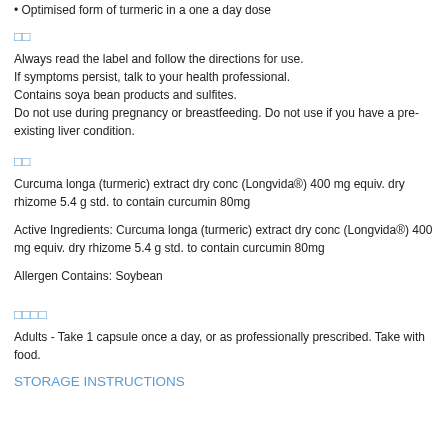• Optimised form of turmeric in a one a day dose
□□
Always read the label and follow the directions for use.
If symptoms persist, talk to your health professional.
Contains soya bean products and sulfites.
Do not use during pregnancy or breastfeeding. Do not use if you have a pre-existing liver condition.
□□
Curcuma longa (turmeric) extract dry conc (Longvida®) 400 mg equiv. dry rhizome 5.4 g std. to contain curcumin 80mg
Active Ingredients: Curcuma longa (turmeric) extract dry conc (Longvida®) 400 mg equiv. dry rhizome 5.4 g std. to contain curcumin 80mg
Allergen Contains: Soybean
□□□□
Adults - Take 1 capsule once a day, or as professionally prescribed. Take with food.
STORAGE INSTRUCTIONS